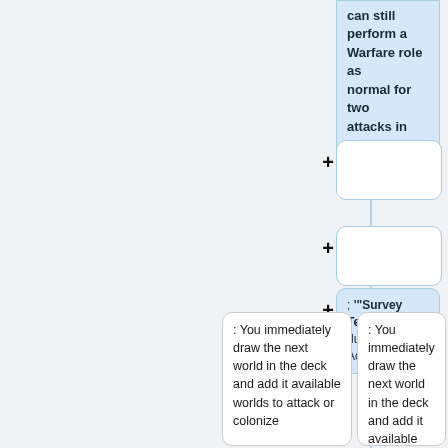can still perform a Warfare role as normal for two attacks in the turn"
; '"Survey Team"' - "Play during your Action Phase"
: You immediately draw the next world in the deck and add it available worlds to attack or colonize
: You immediately draw the next world in the deck and add it available worlds to attack or colonize